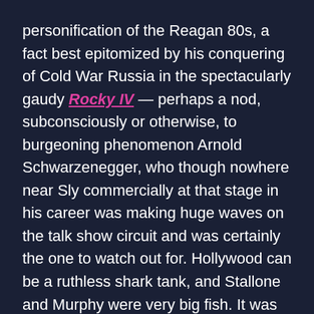personification of the Reagan 80s, a fact best epitomized by his conquering of Cold War Russia in the spectacularly gaudy Rocky IV — perhaps a nod, subconsciously or otherwise, to burgeoning phenomenon Arnold Schwarzenegger, who though nowhere near Sly commercially at that stage in his career was making huge waves on the talk show circuit and was certainly the one to watch out for. Hollywood can be a ruthless shark tank, and Stallone and Murphy were very big fish. It was perhaps only inevitable that one of them would bite eventually.